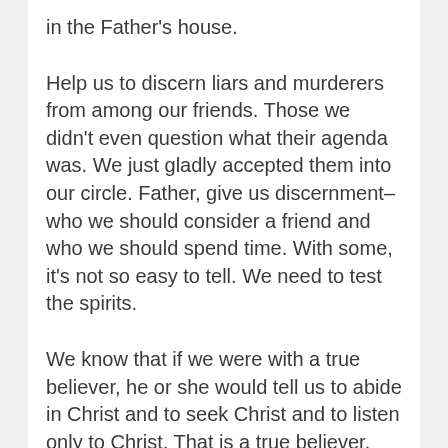in the Father's house.
Help us to discern liars and murderers from among our friends. Those we didn't even question what their agenda was. We just gladly accepted them into our circle. Father, give us discernment–who we should consider a friend and who we should spend time. With some, it's not so easy to tell. We need to test the spirits.
We know that if we were with a true believer, he or she would tell us to abide in Christ and to seek Christ and to listen only to Christ. That is a true believer. Father, thank you for